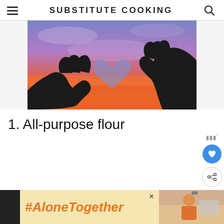SUBSTITUTE COOKING
[Figure (photo): Two hands forming a heart shape silhouetted against a colorful sunset sky with purple and orange hues]
1. All-purpose flour
[Figure (infographic): Advertisement banner with '#AloneTogether' text in orange italic font on a light yellow background, with a woman cooking image on the right]